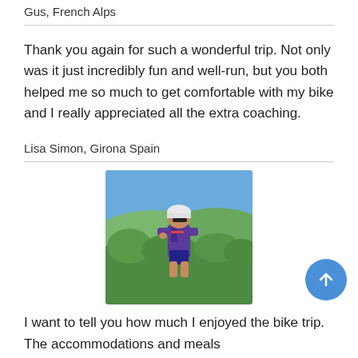Gus, French Alps
Thank you again for such a wonderful trip. Not only was it just incredibly fun and well-run, but you both helped me so much to get comfortable with my bike and I really appreciated all the extra coaching.
Lisa Simon, Girona Spain
[Figure (photo): A cyclist wearing a helmet and sunglasses, standing outdoors with green hills and blue sky in the background.]
I want to tell you how much I enjoyed the bike trip. The accommodations and meals